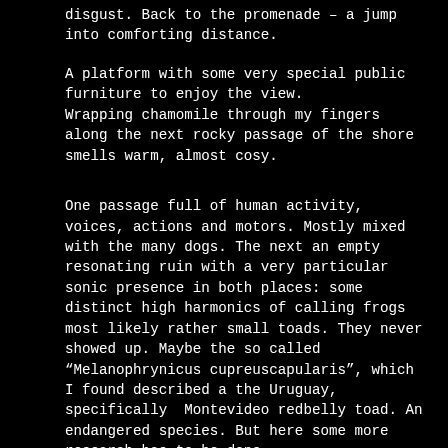disgust. Back to the promenade – a jump into comforting distance.
A platform with some very special public furniture to enjoy the view.
Wrapping chamomile through my fingers along the next rocky passage of the shore smells warm, almost cosy.
One passage full of human activity, voices, actions and motors. Mostly mixed with the many dogs. The next an empty resonating ruin with a very particular sonic presence in both places: some distinct high harmonics of calling frogs most likely rather small toads. They never showed up. Maybe the so called "Melanophrynicus cupreuscapularis", which I found described a the Uruguay, specifically  Montevideo redbelly toad. An endangered species. But here some more research has to be done.
The neighbourhood felt special. Sometimes extremely impoverished, sometimes  well off, both – and probably many grey shades in between – close to each other. Some fence themselves off others don´´t